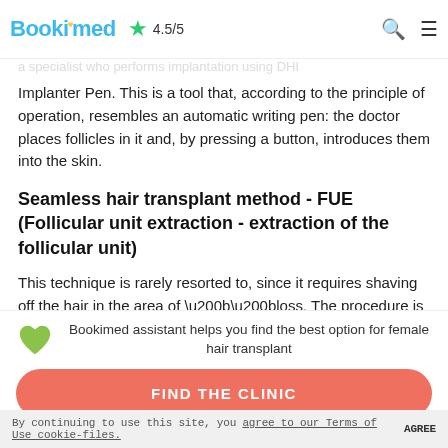Bookimed ★ 4.5/5
Implanter Pen. This is a tool that, according to the principle of operation, resembles an automatic writing pen: the doctor places follicles in it and, by pressing a button, introduces them into the skin.
Seamless hair transplant method - FUE (Follicular unit extraction - extraction of the follicular unit)
This technique is rarely resorted to, since it requires shaving off the hair in the area of \u200b\u200bloss. The procedure is suitable if you need to restore hair growth in a small area or you do not intend to hide that you have undergone transplantation.
Doctors perform a seamless hair transplant using a special rotating stamp (FUE machin), which removes the grafts. After
Bookimed assistant helps you find the best option for female hair transplant
FIND THE CLINIC
By continuing to use this site, you agree to our Terms of Use cookie-files. AGREE